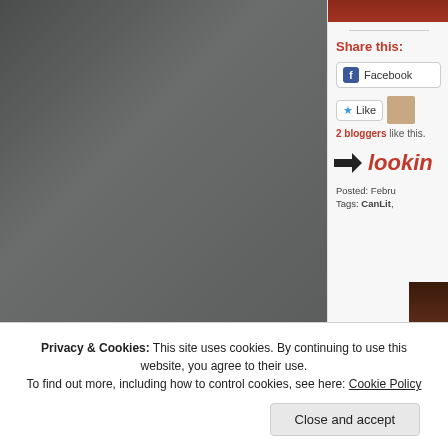[Figure (photo): Dark gray torn paper texture photo on the left side]
[Figure (photo): Red/brown image at top of right sidebar]
Share this:
Facebook
Like
2 bloggers like this.
lookin
Posted: Febru
Tags: CanLit,
Privacy & Cookies: This site uses cookies. By continuing to use this website, you agree to their use.
To find out more, including how to control cookies, see here: Cookie Policy
Close and accept